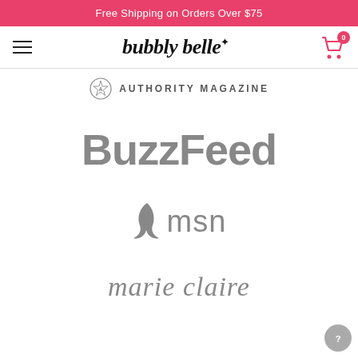Free Shipping on Orders Over $75
[Figure (logo): Bubbly Belle brand logo with hamburger menu icon and shopping cart icon showing 0 items]
[Figure (logo): Authority Magazine logo with circular emblem and text AUTHORITY MAGAZINE]
[Figure (logo): BuzzFeed logo in gray]
[Figure (logo): MSN logo with butterfly/leaf icon in gray]
[Figure (logo): Marie Claire logo in gray italic text, partially visible at bottom]